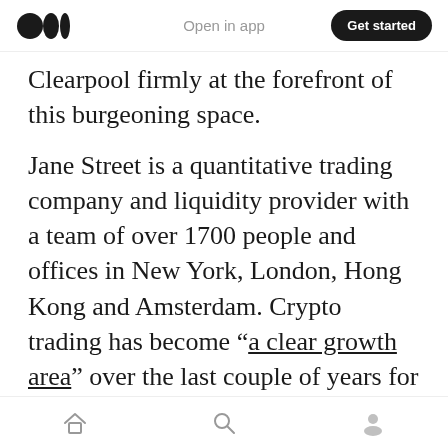Open in app | Get started
Clearpool firmly at the forefront of this burgeoning space.
Jane Street is a quantitative trading company and liquidity provider with a team of over 1700 people and offices in New York, London, Hong Kong and Amsterdam. Crypto trading has become “a clear growth area” over the last couple of years for Jane Street, leading to their interest in unsecured crypto borrowing opportunities on Clearpool, which enables institutions to borrow via its decentralized marketplace and its ecosystem of lenders such as
Home | Search | Profile